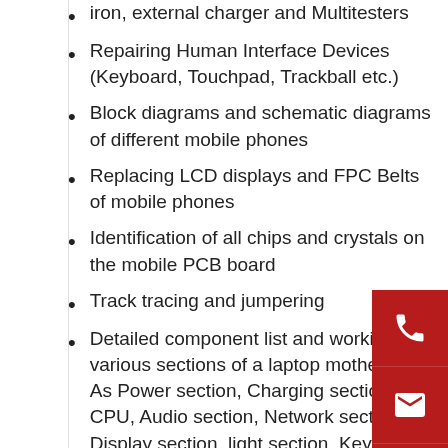iron, external charger and Multitesters
Repairing Human Interface Devices (Keyboard, Touchpad, Trackball etc.)
Block diagrams and schematic diagrams of different mobile phones
Replacing LCD displays and FPC Belts of mobile phones
Identification of all chips and crystals on the mobile PCB board
Track tracing and jumpering
Detailed component list and working of various sections of a laptop motherboard As Power section, Charging section, CPU, Audio section, Network section, Display section, light section, Keypad section, etc
Replacing of faulty chips using Rework Station
Reballing of IC using IC REBALLING KIT